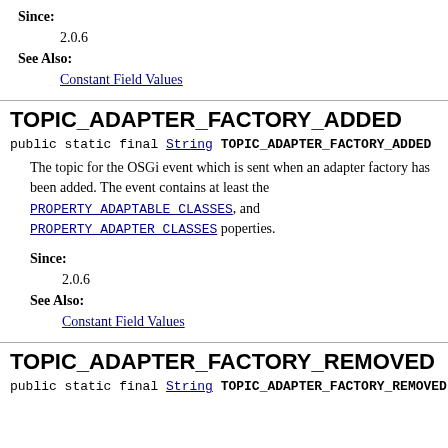Since: 2.0.6
See Also: Constant Field Values
TOPIC_ADAPTER_FACTORY_ADDED
public static final String TOPIC_ADAPTER_FACTORY_ADDED
The topic for the OSGi event which is sent when an adapter factory has been added. The event contains at least the PROPERTY_ADAPTABLE_CLASSES, and PROPERTY_ADAPTER_CLASSES poperties.
Since: 2.0.6
See Also: Constant Field Values
TOPIC_ADAPTER_FACTORY_REMOVED
public static final String TOPIC_ADAPTER_FACTORY_REMOVED